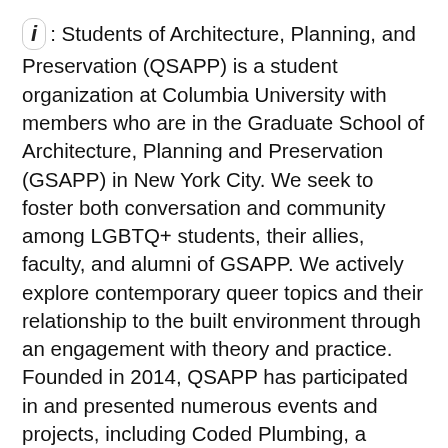i: Students of Architecture, Planning, and Preservation (QSAPP) is a student organization at Columbia University with members who are in the Graduate School of Architecture, Planning and Preservation (GSAPP) in New York City. We seek to foster both conversation and community among LGBTQ+ students, their allies, faculty, and alumni of GSAPP. We actively explore contemporary queer topics and their relationship to the built environment through an engagement with theory and practice. Founded in 2014, QSAPP has participated in and presented numerous events and projects, including Coded Plumbing, a project about gendered restroom design; a lecture by Joel Sanders, author of Stud: Architectures of Masculinity; and, a symposium in honor of the 50th anniversary of the Stonewall Riots, Stonewall 50: Defining LGBTQ Site Preservation. We